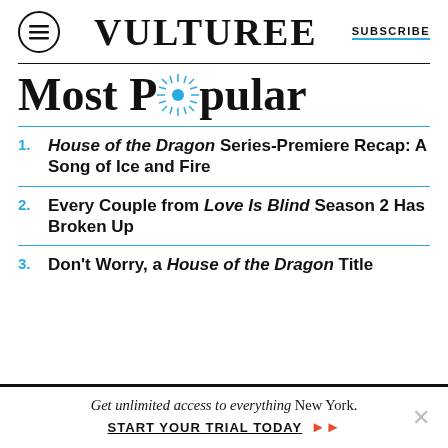VULTURE | SUBSCRIBE
Most Popular
House of the Dragon Series-Premiere Recap: A Song of Ice and Fire
Every Couple from Love Is Blind Season 2 Has Broken Up
Don't Worry, a House of the Dragon Title
Get unlimited access to everything New York. START YOUR TRIAL TODAY